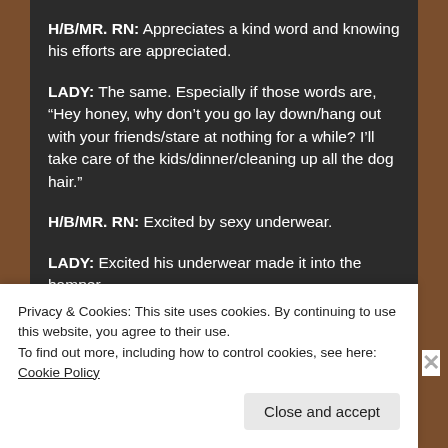H/B/MR. RN: Appreciates a kind word and knowing his efforts are appreciated.
LADY: The same. Especially if those words are, “Hey honey, why don’t you go lay down/hang out with your friends/stare at nothing for a while? I’ll take care of the kids/dinner/cleaning up all the dog hair.”
H/B/MR. RN: Excited by sexy underwear.
LADY: Excited his underwear made it into the hamper.
Privacy & Cookies: This site uses cookies. By continuing to use this website, you agree to their use.
To find out more, including how to control cookies, see here: Cookie Policy